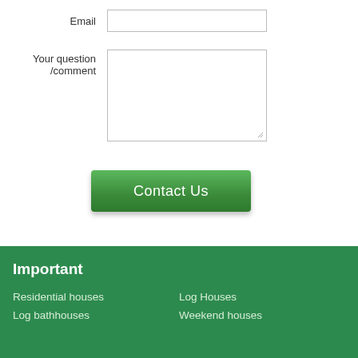Email
Your question /comment
Contact Us
Important
Residential houses
Log bathhouses
Log Houses
Weekend houses